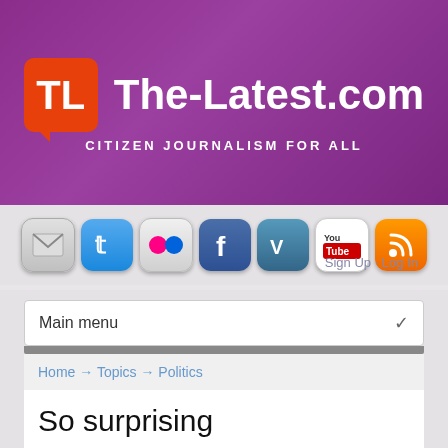[Figure (logo): The-Latest.com website header with orange TL logo box, white site name text, and tagline 'CITIZEN JOURNALISM FOR ALL' on purple background]
[Figure (infographic): Row of social media icons: email, Twitter, Flickr, Facebook, Vimeo, YouTube, RSS]
Sign Up · Log In
Main menu
Home → Topics → Politics
So surprising
[Figure (photo): Colorful swirling background with a person with multicolored hair]